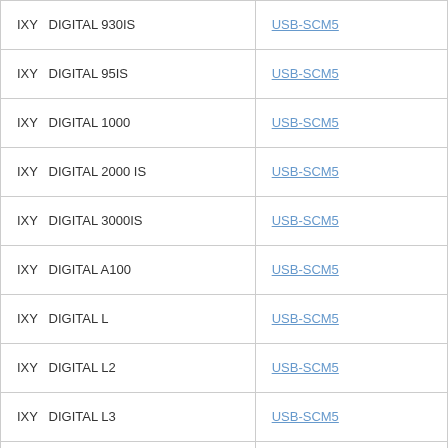| Model | Cable |
| --- | --- |
| IXY   DIGITAL 930IS | USB-SCM5 |
| IXY   DIGITAL 95IS | USB-SCM5 |
| IXY   DIGITAL 1000 | USB-SCM5 |
| IXY   DIGITAL 2000 IS | USB-SCM5 |
| IXY   DIGITAL 3000IS | USB-SCM5 |
| IXY   DIGITAL A100 | USB-SCM5 |
| IXY   DIGITAL L | USB-SCM5 |
| IXY   DIGITAL L2 | USB-SCM5 |
| IXY   DIGITAL L3 | USB-SCM5 |
| IXY   DIGITAL L4 | USB-SCM5 |
| IXY   DIGITAL WIRELESS | USB-SCM5 |
| IXY   DIGITAL200a | □□□□ |
| Power Shot A10 | USB-SCM5 |
| Power Shot A20 | USB-SCM5 |
| Power Shot A30 | USB-SCM5 |